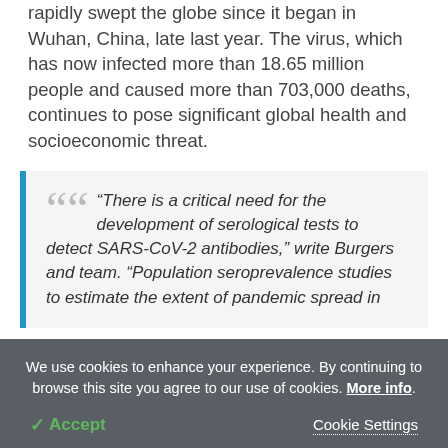rapidly swept the globe since it began in Wuhan, China, late last year. The virus, which has now infected more than 18.65 million people and caused more than 703,000 deaths, continues to pose significant global health and socioeconomic threat.
“There is a critical need for the development of serological tests to detect SARS-CoV-2 antibodies,” write Burgers and team. “Population seroprevalence studies to estimate the extent of pandemic spread in
We use cookies to enhance your experience. By continuing to browse this site you agree to our use of cookies. More info.